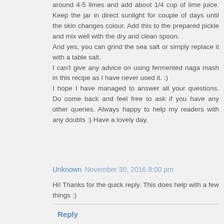around 4-5 limes and add about 1/4 cup of lime juice. Keep the jar in direct sunlight for couple of days until the skin changes colour. Add this to the prepared pickle and mix well with the dry and clean spoon.
And yes, you can grind the sea salt or simply replace it with a table salt.
I can't give any advice on using fermented naga mash in this recipe as I have never used it. :)
I hope I have managed to answer all your questions. Do come back and feel free to ask if you have any other queries. Always happy to help my readers with any doubts :) Have a lovely day.
Unknown  November 30, 2016 8:00 pm
Hi! Thanks for the quick reply. This does help with a few things :)
Reply